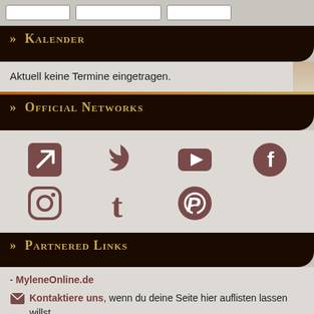>> Kalender
Aktuell keine Termine eingetragen.
>> Official Networks
[Figure (other): Social media icons grid: external link, Twitter, YouTube, Facebook (row 1); Instagram, Tumblr, Pinterest (row 2)]
>> Partnered Links
- MyleneOnline.de
Kontaktiere uns, wenn du deine Seite hier auflisten lassen willst.